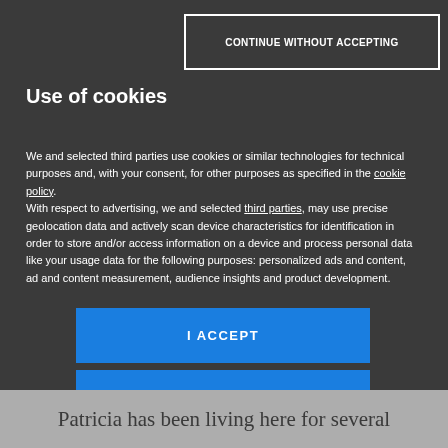CONTINUE WITHOUT ACCEPTING
Use of cookies
We and selected third parties use cookies or similar technologies for technical purposes and, with your consent, for other purposes as specified in the cookie policy.
With respect to advertising, we and selected third parties, may use precise geolocation data and actively scan device characteristics for identification in order to store and/or access information on a device and process personal data like your usage data for the following purposes: personalized ads and content, ad and content measurement, audience insights and product development.
I ACCEPT
CUSTOMIZE
[Figure (logo): Mondadori Media logo with red triangle/M icon and text MONDADORI MEDIA]
Patricia has been living here for several